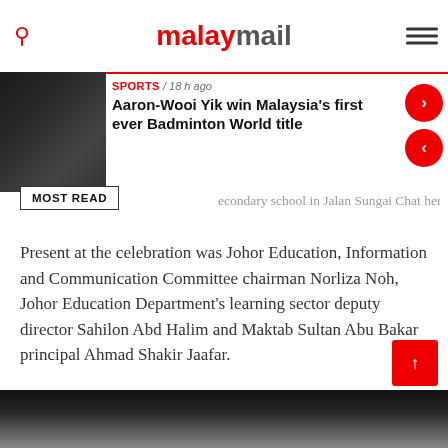malaymail
[Figure (screenshot): Badminton match photo thumbnail]
SPORTS / 18 h ago
Aaron-Wooi Yik win Malaysia's first ever Badminton World title
econdary school in Jalan Sungai Chat here.
MOST READ
Present at the celebration was Johor Education, Information and Communication Committee chairman Norliza Noh, Johor Education Department's learning sector deputy director Sahilon Abd Halim and Maktab Sultan Abu Bakar principal Ahmad Shakir Jaafar.
Meanwhile, Onn Hafiz also approved an additional allocation of RM200,000 to upgrade the secondary school's Sultan Iskandar Hall.
[Figure (photo): Bottom photo strip showing people]